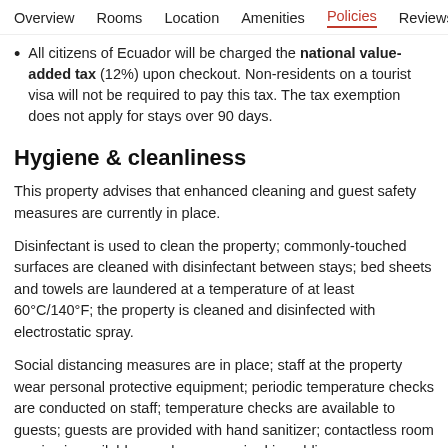Overview  Rooms  Location  Amenities  Policies  Reviews
All citizens of Ecuador will be charged the national value-added tax (12%) upon checkout. Non-residents on a tourist visa will not be required to pay this tax. The tax exemption does not apply for stays over 90 days.
Hygiene & cleanliness
This property advises that enhanced cleaning and guest safety measures are currently in place.
Disinfectant is used to clean the property; commonly-touched surfaces are cleaned with disinfectant between stays; bed sheets and towels are laundered at a temperature of at least 60°C/140°F; the property is cleaned and disinfected with electrostatic spray.
Social distancing measures are in place; staff at the property wear personal protective equipment; periodic temperature checks are conducted on staff; temperature checks are available to guests; guests are provided with hand sanitizer; contactless room service is available; masks are required in public areas; reservations are required for some onsite facilities.
Contactless check-in and contactless check-out are available